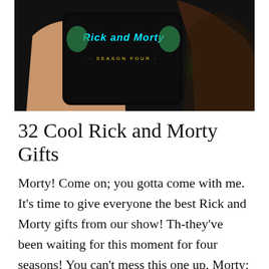[Figure (photo): A hand holding a black Rick and Morty Season Four branded item (likely a phone case or mug) with teal/green glowing design against a dark background]
32 Cool Rick and Morty Gifts
Morty! Come on; you gotta come with me. It's time to give everyone the best Rick and Morty gifts from our show! Th-they've been waiting for this moment for four seasons! You can't mess this one up, Morty; the people need us. I'm going to